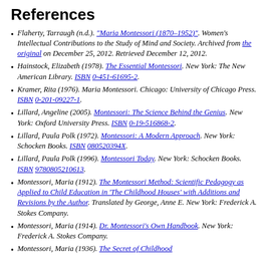References
Flaherty, Tarraugh (n.d.). "Maria Montessori (1870–1952)". Women's Intellectual Contributions to the Study of Mind and Society. Archived from the original on December 25, 2012. Retrieved December 12, 2012.
Hainstock, Elizabeth (1978). The Essential Montessori. New York: The New American Library. ISBN 0-451-61695-2.
Kramer, Rita (1976). Maria Montessori. Chicago: University of Chicago Press. ISBN 0-201-09227-1.
Lillard, Angeline (2005). Montessori: The Science Behind the Genius. New York: Oxford University Press. ISBN 0-19-516868-2.
Lillard, Paula Polk (1972). Montessori: A Modern Approach. New York: Schocken Books. ISBN 080520394X.
Lillard, Paula Polk (1996). Montessori Today. New York: Schocken Books. ISBN 9780805210613.
Montessori, Maria (1912). The Montessori Method: Scientific Pedagogy as Applied to Child Education in 'The Childhood Houses' with Additions and Revisions by the Author. Translated by George, Anne E. New York: Frederick A. Stokes Company.
Montessori, Maria (1914). Dr. Montessori's Own Handbook. New York: Frederick A. Stokes Company.
Montessori, Maria (1936). The Secret of Childhood.